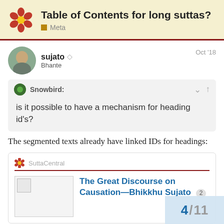Table of Contents for long suttas? — Meta
sujato  Bhante — Oct '18
Snowbird: is it possible to have a mechanism for heading id's?
The segmented texts already have linked IDs for headings:
[Figure (screenshot): Embedded SuttaCentral link card showing 'The Great Discourse on Causation—Bhikkhu Sujato' with badge '2' and a thumbnail image]
Rejecting Venerable Ānanda's claim to understand dependent origination, th